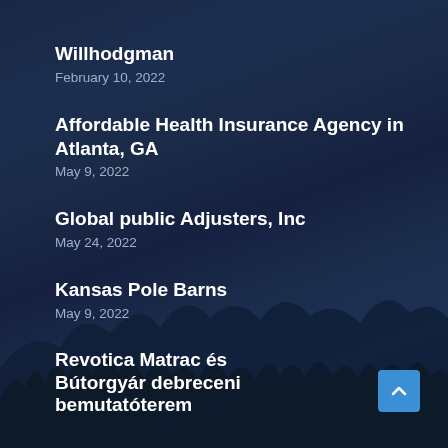Willhodgman
February 10, 2022
Affordable Health Insurance Agency in Atlanta, GA
May 9, 2022
Global public Adjusters, Inc
May 24, 2022
Kansas Pole Barns
May 9, 2022
Revotica Matrac és Bútorgyár debreceni bemutatóterem